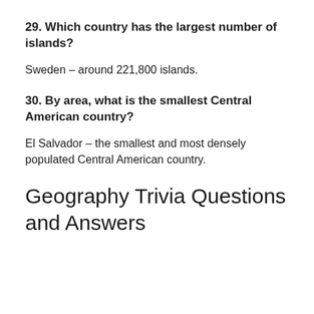29. Which country has the largest number of islands?
Sweden – around 221,800 islands.
30. By area, what is the smallest Central American country?
El Salvador – the smallest and most densely populated Central American country.
Geography Trivia Questions and Answers